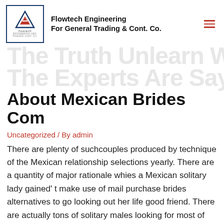Flowtech Engineering For General Trading & Cont. Co.
The Truth Unlearn What The Experts Are Saying About Mexican Brides Com
Uncategorized / By admin
There are plenty of suchcouples produced by technique of the Mexican relationship selections yearly. There are a quantity of major rationale whies a Mexican solitary lady gained' t make use of mail purchase brides alternatives to go looking out her life good friend. There are actually tons of solitary males looking for most of those unbelievable and exquisite Mexican females on-line. You can have a thrill when courting a Mexican woman thanks to her unpredictable but passionate character, but these women are equally in style as wives and mothers. Motherhood is something that makes the life of a Mexican